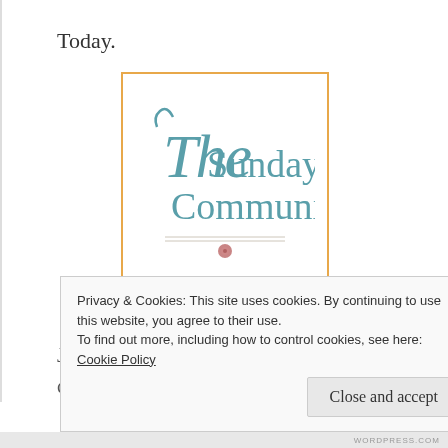Today.
[Figure (logo): The Sunday Community logo: teal cursive and serif text reading 'The Sunday Community' with a small decorative red/rose ornament below, inside an orange-bordered square]
Joining Deidra and her beautiful Sunday community.
Privacy & Cookies: This site uses cookies. By continuing to use this website, you agree to their use.
To find out more, including how to control cookies, see here: Cookie Policy
Close and accept